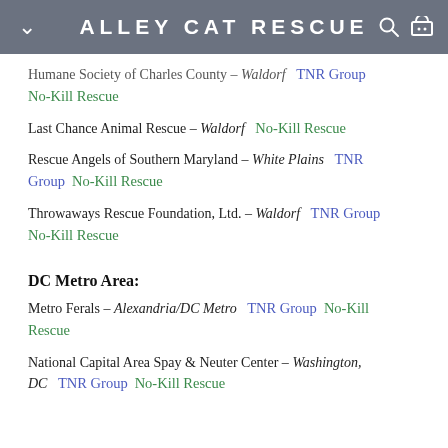ALLEY CAT RESCUE
Humane Society of Charles County – Waldorf   TNR Group   No-Kill Rescue
Last Chance Animal Rescue – Waldorf   No-Kill Rescue
Rescue Angels of Southern Maryland – White Plains   TNR Group   No-Kill Rescue
Throwaways Rescue Foundation, Ltd. – Waldorf   TNR Group   No-Kill Rescue
DC Metro Area:
Metro Ferals – Alexandria/DC Metro   TNR Group   No-Kill Rescue
National Capital Area Spay & Neuter Center – Washington, DC   TNR Group   No-Kill Rescue